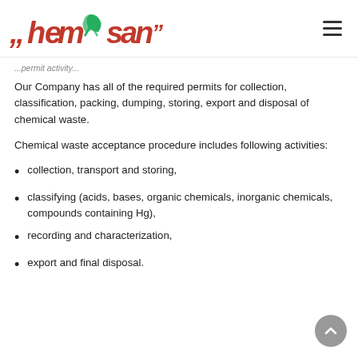hemosan logo and navigation
...permit activity...
Our Company has all of the required permits for collection, classification, packing, dumping, storing, export and disposal of chemical waste.
Chemical waste acceptance procedure includes following activities:
collection, transport and storing,
classifying (acids, bases, organic chemicals, inorganic chemicals, compounds containing Hg),
recording and characterization,
export and final disposal.